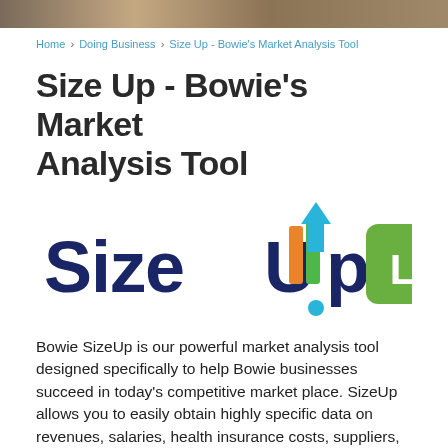[header image]
Home › Doing Business › Size Up - Bowie's Market Analysis Tool
Size Up - Bowie's Market Analysis Tool
[Figure (logo): SizeUp LBI logo — SizeUp in dark blue and colored arrow/bar letters with a green rounded rectangle badge showing 'LBI']
Bowie SizeUp is our powerful market analysis tool designed specifically to help Bowie businesses succeed in today's competitive market place. SizeUp allows you to easily obtain highly specific data on revenues, salaries, health insurance costs, suppliers, competitor information and much more.  Market research can be time consuming and difficult to do as a small business.  Business analysis with Bowie SizeUp